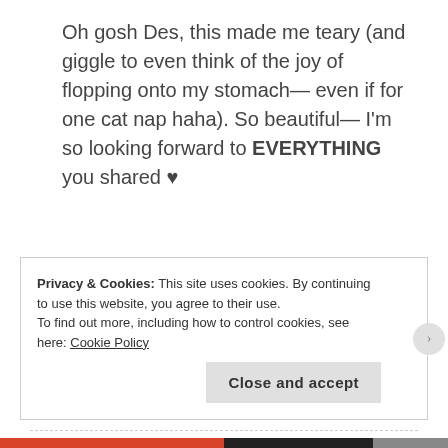Oh gosh Des, this made me teary (and giggle to even think of the joy of flopping onto my stomach— even if for one cat nap haha). So beautiful— I'm so looking forward to EVERYTHING you shared ♥
★ Like
REPLY ↩
Privacy & Cookies: This site uses cookies. By continuing to use this website, you agree to their use.
To find out more, including how to control cookies, see here: Cookie Policy
Close and accept